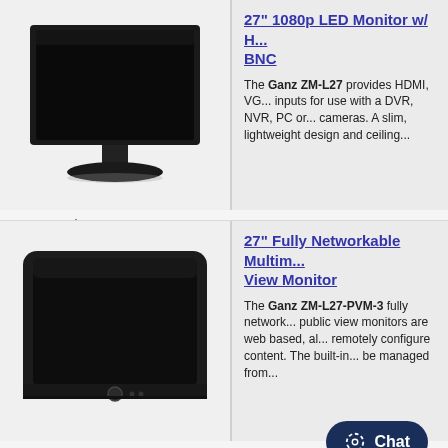[Figure (photo): Monitor product image - slim LED monitor with stand, dark screen, seen from front]
27" 1080p LED Monitor w/ H... BNC
The Ganz ZM-L27 provides HDMI, VG... inputs for use with a DVR, NVR, PC or... cameras. A slim, lightweight design and ceiling...
Ganz: zm-l27
[Figure (photo): Flat panel public view monitor with rounded edges and a button on the front bezel, dark screen]
27" Fully Networkable Multim... View Monitor
The Ganz ZM-L27-PVM-3 fully network... public view monitors are web based, al... remotely configure content. The built-in... be managed from...
Ganz: zm-l27-pvm-3